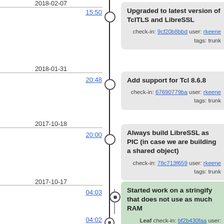2018-02-07
15:50
Upgraded to latest version of TclTLS and LibreSSL
check-in: 9cf20b8bbd user: rkeene
tags: trunk
2018-01-31
20:48
Add support for Tcl 8.6.8
check-in: 67690779ba user: rkeene
tags: trunk
2017-10-18
20:00
Always build LibreSSL as PIC (in case we are building a shared object)
check-in: 78c713f659 user: rkeene
tags: trunk
2017-10-17
04:03
Started work on a stringify that does not use as much RAM
Leaf check-in: bf2b430faa user: rkeene
tags: less-memory-stringify
04:02